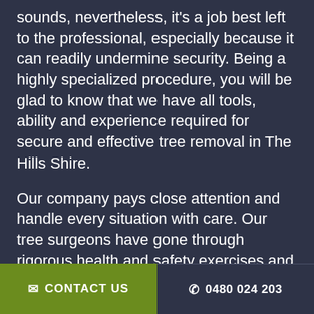sounds, nevertheless, it's a job best left to the professional, especially because it can readily undermine security. Being a highly specialized procedure, you will be glad to know that we have all tools, ability and experience required for secure and effective tree removal in The Hills Shire.
Our company pays close attention and handle every situation with care. Our tree surgeons have gone through rigorous health and safety exercises and are highly trained to deal with any sort of project. We can easily place them in the field with confidence that they may take all the necessary precautions when handling your project.
Even though tree removal marketplace is quite
✉ CONTACT US   ✆ 0480 024 203